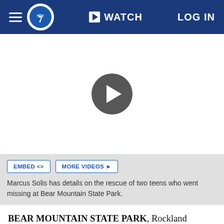abc7  WATCH  LOG IN
[Figure (screenshot): Video player area with a large dark play button circle in the center on a white background]
EMBED <>   MORE VIDEOS ▶
Marcus Solis has details on the rescue of two teens who went missing at Bear Mountain State Park.
BEAR MOUNTAIN STATE PARK, Rockland County (WABC) -- Two teens from Brooklyn who disappeared while hiking at the Bear Mountain State Park in Rockland County, have been reunited with